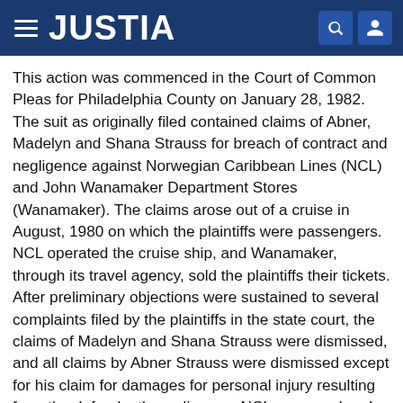JUSTIA
This action was commenced in the Court of Common Pleas for Philadelphia County on January 28, 1982. The suit as originally filed contained claims of Abner, Madelyn and Shana Strauss for breach of contract and negligence against Norwegian Caribbean Lines (NCL) and John Wanamaker Department Stores (Wanamaker). The claims arose out of a cruise in August, 1980 on which the plaintiffs were passengers. NCL operated the cruise ship, and Wanamaker, through its travel agency, sold the plaintiffs their tickets. After preliminary objections were sustained to several complaints filed by the plaintiffs in the state court, the claims of Madelyn and Shana Strauss were dismissed, and all claims by Abner Strauss were dismissed except for his claim for damages for personal injury resulting from the defendant's negligence. NCL answered and then moved for summary judgment...